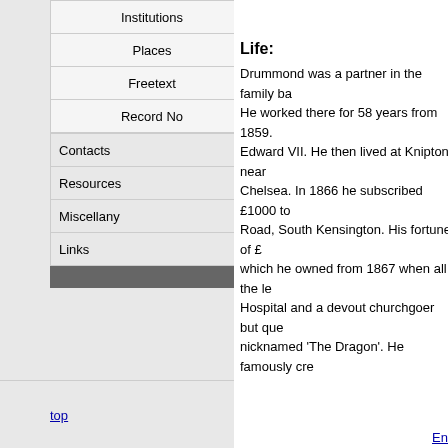Institutions
Places
Freetext
Record No
Contacts
Resources
Miscellany
Links
Life:
Drummond was a partner in the family ba... He worked there for 58 years from 1859. Edward VII. He then lived at Knipton near Chelsea. In 1866 he subscribed £1000 to Road, South Kensington. His fortune of £ which he owned from 1867 when all the le Hospital and a devout churchgoer but que nicknamed 'The Dragon'. He famously cre banked with Drummonds from 1859. In th Square, London.
Bibliography:
Simpson's Chelsea etc Guide, London 18 London, London, 1871; The Chelsea Pim Chelsea, Pimlico and Belgravia Directory
top